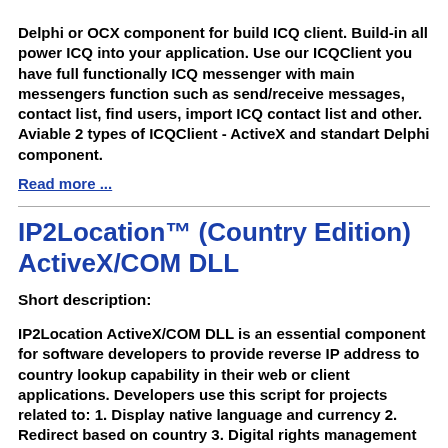Delphi or OCX component for build ICQ client. Build-in all power ICQ into your application. Use our ICQClient you have full functionally ICQ messenger with main messengers function such as send/receive messages, contact list, find users, import ICQ contact list and other. Aviable 2 types of ICQClient - ActiveX and standart Delphi component.
Read more ...
IP2Location™ (Country Edition) ActiveX/COM DLL
Short description:
IP2Location ActiveX/COM DLL is an essential component for software developers to provide reverse IP address to country lookup capability in their web or client applications. Developers use this script for projects related to: 1. Display native language and currency 2. Redirect based on country 3. Digital rights management 4. Prevent password sharing and abuse of service 5. Reduce credit card fraud 6. Web log stats and analysis 7. Auto-selection of country on forms 8. Filter spam from countries...